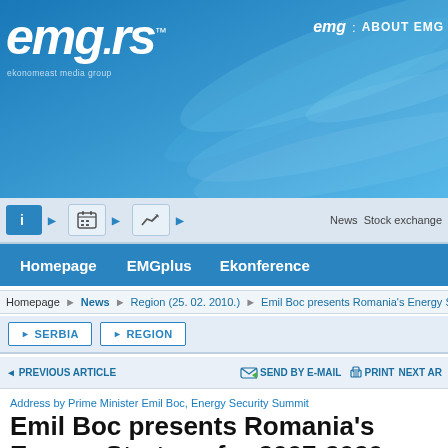emg.rs — ekonomeast media group | emg: ABOUT EMG
[Figure (screenshot): Blue decorative header background with curved light streaks]
Homepage  EMGplus  Ekonference  News Stock exchange
Homepage  News ▶  Region (25. 02. 2010.)  ▶  Emil Boc presents Romania's Energy S
▶ SERBIA  ▶ REGION
◄ PREVIOUS ARTICLE    SEND BY E-MAIL   PRINT  NEXT AR
Address by Prime Minister Emil Boc, Energy Security Summit
Emil Boc presents Romania's Energy Strategy for 2007-2020
25. February 2010. | 12:45